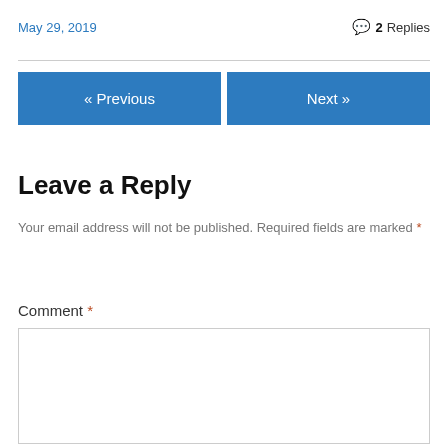May 29, 2019
💬 2 Replies
« Previous    Next »
Leave a Reply
Your email address will not be published. Required fields are marked *
Comment *